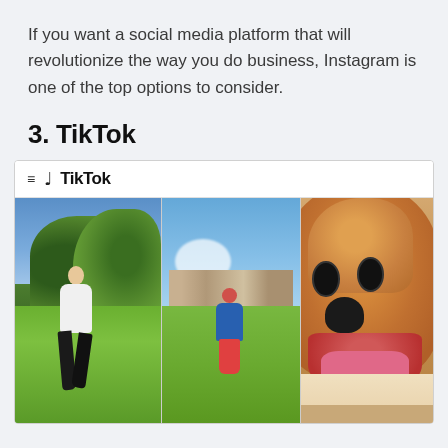If you want a social media platform that will revolutionize the way you do business, Instagram is one of the top options to consider.
3. TikTok
[Figure (screenshot): Screenshot of TikTok website interface showing the TikTok logo in the header, followed by a photo strip with three images: a person running on grass with trees in the background, a person in a Spider-Man costume on a sports field, and a close-up of a happy Shiba Inu dog.]